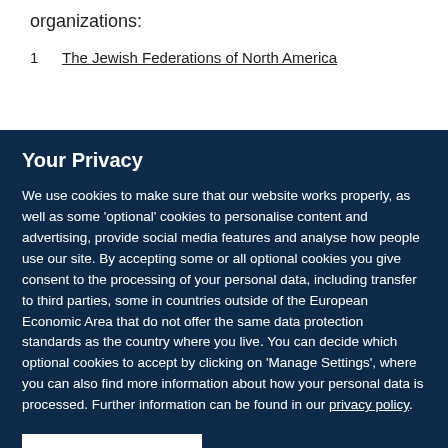organizations:
1. The Jewish Federations of North America
Your Privacy
We use cookies to make sure that our website works properly, as well as some 'optional' cookies to personalise content and advertising, provide social media features and analyse how people use our site. By accepting some or all optional cookies you give consent to the processing of your personal data, including transfer to third parties, some in countries outside of the European Economic Area that do not offer the same data protection standards as the country where you live. You can decide which optional cookies to accept by clicking on 'Manage Settings', where you can also find more information about how your personal data is processed. Further information can be found in our privacy policy.
Accept all cookies
Manage preferences